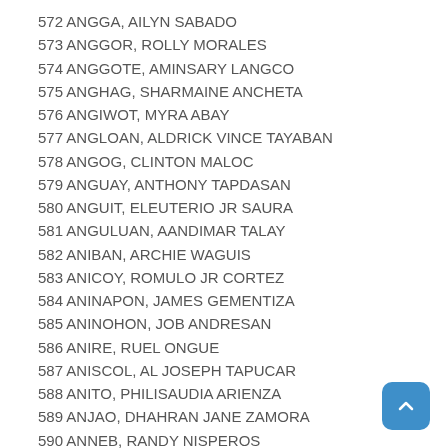572 ANGGA, AILYN SABADO
573 ANGGOR, ROLLY MORALES
574 ANGGOTE, AMINSARY LANGCO
575 ANGHAG, SHARMAINE ANCHETA
576 ANGIWOT, MYRA ABAY
577 ANGLOAN, ALDRICK VINCE TAYABAN
578 ANGOG, CLINTON MALOC
579 ANGUAY, ANTHONY TAPDASAN
580 ANGUIT, ELEUTERIO JR SAURA
581 ANGULUAN, AANDIMAR TALAY
582 ANIBAN, ARCHIE WAGUIS
583 ANICOY, ROMULO JR CORTEZ
584 ANINAPON, JAMES GEMENTIZA
585 ANINOHON, JOB ANDRESAN
586 ANIRE, RUEL ONGUE
587 ANISCOL, AL JOSEPH TAPUCAR
588 ANITO, PHILISAUDIA ARIENZA
589 ANJAO, DHAHRAN JANE ZAMORA
590 ANNEB, RANDY NISPEROS
591 ANNIBAN, JOCKEY SUGAL
592 ANORA, GODFREY ROMERDE